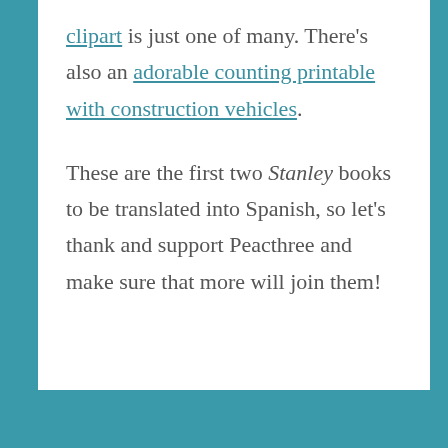clipart is just one of many. There's also an adorable counting printable with construction vehicles. These are the first two Stanley books to be translated into Spanish, so let's thank and support Peacthree and make sure that more will join them!